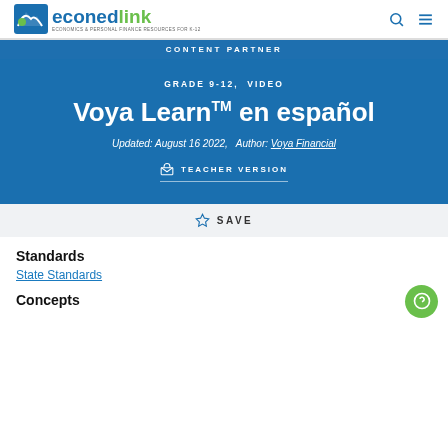econedlink — Economics & Personal Finance Resources for K-12
CONTENT PARTNER
GRADE 9-12,  VIDEO
Voya Learn™ en español
Updated: August 16 2022,   Author: Voya Financial
TEACHER VERSION
SAVE
Standards
State Standards
Concepts